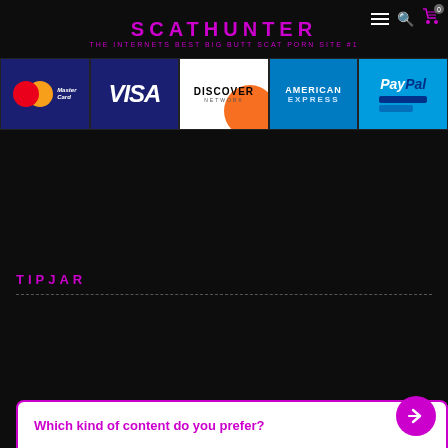SCATHUNTER
THE INTERNETS BEST BIG BUTT SCAT PORN SITE #1
[Figure (logo): MasterCard payment logo]
[Figure (logo): VISA payment logo]
[Figure (logo): Discover Network payment logo]
[Figure (logo): American Express payment logo]
[Figure (logo): PayPal payment logo]
TIPJAR
Which kind of content do you prefer?